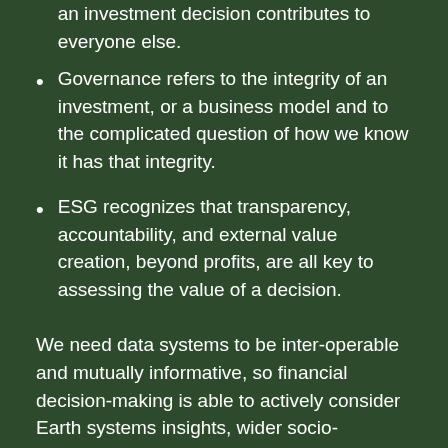an investment decision contributes to everyone else.
Governance refers to the integrity of an investment, or a business model and to the complicated question of how we know it has that integrity.
ESG recognizes that transparency, accountability, and external value creation, beyond profits, are all key to assessing the value of a decision.
We need data systems to be inter-operable and mutually informative, so financial decision-making is able to actively consider Earth systems insights, wider socio-economic dynamics, including public health considerations, that shape the overall value potential of an economy, and condition each decision within it. And,